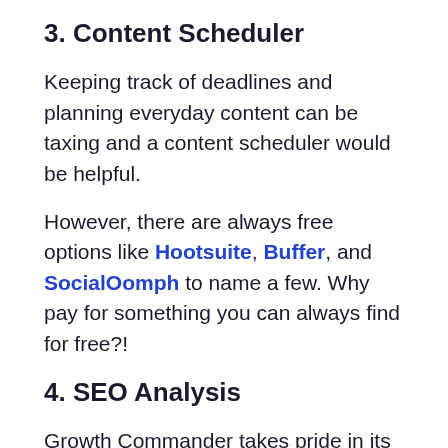3. Content Scheduler
Keeping track of deadlines and planning everyday content can be taxing and a content scheduler would be helpful.
However, there are always free options like Hootsuite, Buffer, and SocialOomph to name a few. Why pay for something you can always find for free?!
4. SEO Analysis
Growth Commander takes pride in its built-in keyword research tool. There's no question a